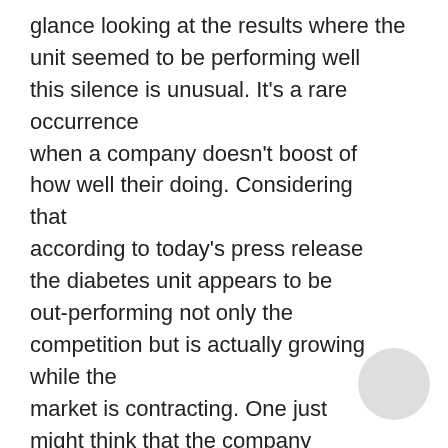glance looking at the results where the unit seemed to be performing well this silence is unusual. It's a rare occurrence when a company doesn't boost of how well their doing. Considering that according to today's press release the diabetes unit appears to be out-performing not only the competition but is actually growing while the market is contracting. One just might think that the company would do a little chest thumping.
Perhaps one reason for the silence